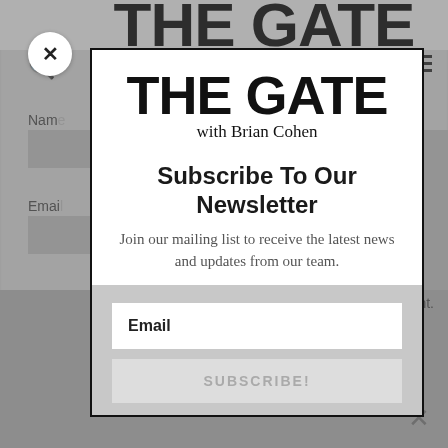[Figure (screenshot): Background webpage showing 'THE GATE with Brian Cohen' website with form fields, search icon, hamburger menu, and checkboxes, partially obscured by modal overlay]
[Figure (screenshot): Modal popup dialog for 'THE GATE with Brian Cohen' newsletter subscription, containing logo, title 'Subscribe To Our Newsletter', description text, email input field, and SUBSCRIBE! button]
THE GATE
with Brian Cohen
Subscribe To Our Newsletter
Join our mailing list to receive the latest news and updates from our team.
Email
SUBSCRIBE!